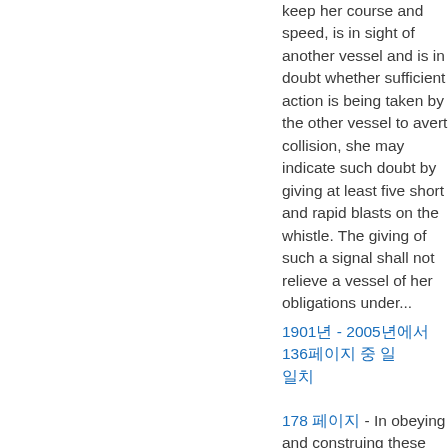keep her course and speed, is in sight of another vessel and is in doubt whether sufficient action is being taken by the other vessel to avert collision, she may indicate such doubt by giving at least five short and rapid blasts on the whistle. The giving of such a signal shall not relieve a vessel of her obligations under...
1901년 - 2005년에서 136페이지 중 일 일치
178 페이지 - In obeying and construing these rules, due regard shall be had to all dangers of navigation and collision, and to any special circumstances which